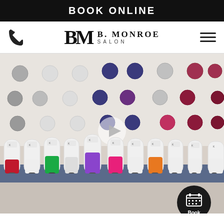BOOK ONLINE
[Figure (logo): B. Monroe Salon logo with stylized BM letters and phone/hamburger nav icons]
[Figure (photo): Salon interior showing color wall with round color swatches and a row of Kérastase product bottles in various colors (red, green, purple, pink, orange) on a shelf, with a video play button overlay]